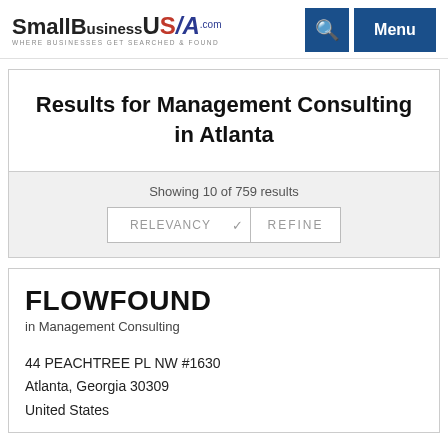SmallBusinessUSA.com — WHERE BUSINESSES GET SEARCHED & FOUND | Search | Menu
Results for Management Consulting in Atlanta
Showing 10 of 759 results
RELEVANCY ∨  REFINE
FLOWFOUND
in Management Consulting
44 PEACHTREE PL NW #1630
Atlanta, Georgia 30309
United States